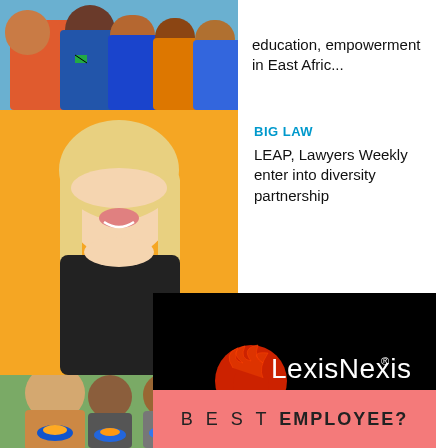[Figure (photo): Group of children in blue uniforms, partially visible at top]
education, empowerment in East Afric...
[Figure (photo): Smiling blonde woman on orange background]
BIG LAW
LEAP, Lawyers Weekly enter into diversity partnership
[Figure (logo): LexisNexis logo on black background - red phoenix bird logo with LexisNexis text in white]
[Figure (photo): Woman and children eating from blue bowls]
BIG LAW
So They Can, Momentum Media team up to promote education and empowerme...
BEST EMPLOYEE?